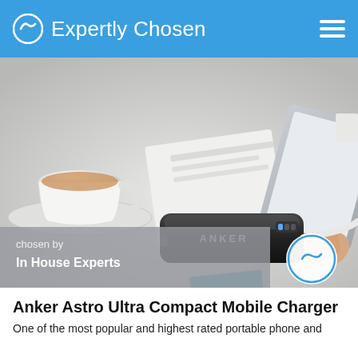Expertly Chosen
[Figure (photo): Product photo of a black Anker Astro portable power bank/mobile charger sitting on a white desk surface with a white charging cable, a coffee cup and saucer in the background, and a hand holding a tablet in the upper right. An 'Expertly Chosen' logo badge appears in the lower right of the image. Text overlay in lower left reads 'chosen by In House Experts'.]
Anker Astro Ultra Compact Mobile Charger
One of the most popular and highest rated portable phone and